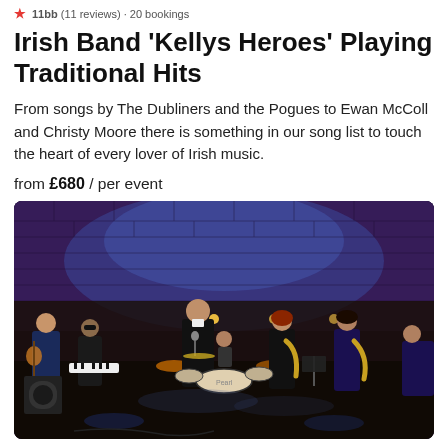★ 11bb (11 reviews) · 20 bookings
Irish Band 'Kellys Heroes' Playing Traditional Hits
From songs by The Dubliners and the Pogues to Ewan McColl and Christy Moore there is something in our song list to touch the heart of every lover of Irish music.
from £680 / per event
[Figure (photo): Photo of the Irish band Kellys Heroes performing on stage in a venue with brick walls lit in blue/purple light. The band includes guitarist, keyboardist, lead vocalist in black suit, saxophonists, and drummer on a Pearl kit.]